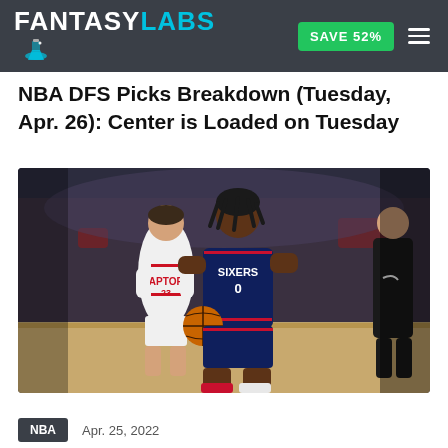FANTASY LABS | SAVE 52%
NBA DFS Picks Breakdown (Tuesday, Apr. 26): Center is Loaded on Tuesday
[Figure (photo): Basketball action photo: Philadelphia 76ers player #0 dribbling past Toronto Raptors player #23 in a packed arena. A referee is visible on the right edge.]
NBA   Apr. 25, 2022